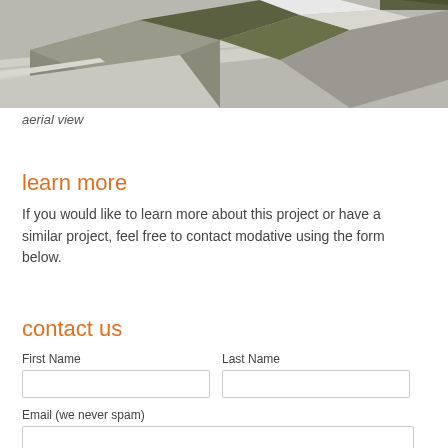[Figure (illustration): Aerial 3D rendering of a building complex with dark olive green rooftops, white geometric roof sections, surrounding roads and grey neighboring structures viewed from above at an angle.]
aerial view
learn more
If you would like to learn more about this project or have a similar project, feel free to contact modative using the form below.
contact us
First Name
Last Name
Email (we never spam)